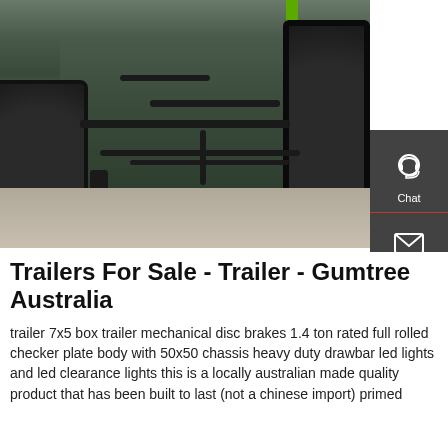[Figure (photo): Undercarriage view of a heavy-duty trailer showing axles, tires, chassis frame, and mechanical components from below, viewed from ground level on a paved surface.]
Trailers For Sale - Trailer - Gumtree Australia
trailer 7x5 box trailer mechanical disc brakes 1.4 ton rated full rolled checker plate body with 50x50 chassis heavy duty drawbar led lights and led clearance lights this is a locally australian made quality product that has been built to last (not a chinese import) primed